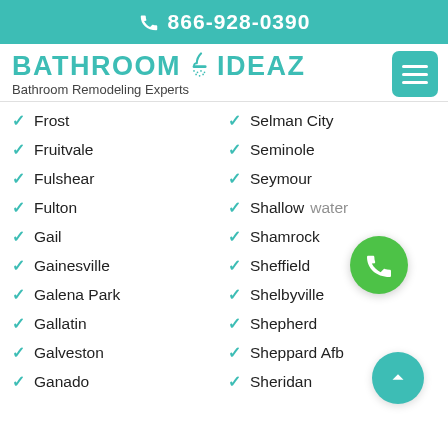866-928-0390
BATHROOM IDEAZ - Bathroom Remodeling Experts
Frost
Fruitvale
Fulshear
Fulton
Gail
Gainesville
Galena Park
Gallatin
Galveston
Ganado
Selman City
Seminole
Seymour
Shallowater
Shamrock
Sheffield
Shelbyville
Shepherd
Sheppard Afb
Sheridan